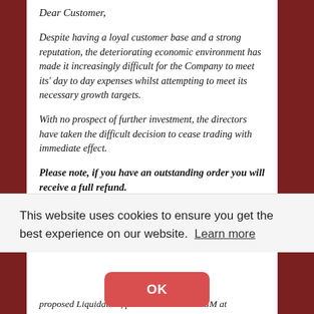Dear Customer,
Despite having a loyal customer base and a strong reputation, the deteriorating economic environment has made it increasingly difficult for the Company to meet its’ day to day expenses whilst attempting to meet its necessary growth targets.
With no prospect of further investment, the directors have taken the difficult decision to cease trading with immediate effect.
Please note, if you have an outstanding order you will receive a full refund.
We would like to thank our customers for all of their
This website uses cookies to ensure you get the best experience on our website. Learn more
OK
proposed Liquidation, please contact PKF GM at